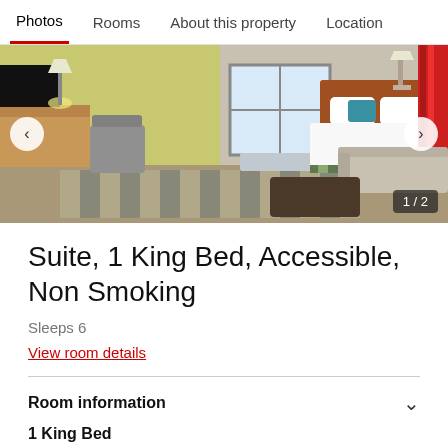Photos  Rooms  About this property  Location
[Figure (photo): Hotel suite room showing a king bed with blue pillows and white bedding, yellow-green walls, a work desk with chair, red curtains, and a sitting area with sofa and ottoman. Room interior photo with navigation arrows.]
Suite, 1 King Bed, Accessible, Non Smoking
Sleeps 6
View room details
Room information
1 King Bed